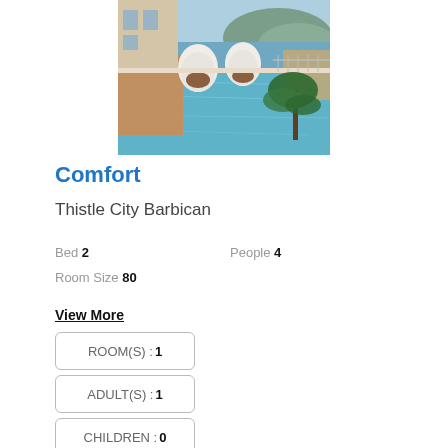[Figure (photo): Hotel pool with egg-shaped white lounge chairs beside an infinity pool, overlooking a waterfront with hills in the background]
Comfort
Thistle City Barbican
Bed 2   People 4
Room Size 80
View More
ROOM(S) : 1
ADULT(S) : 1
CHILDREN : 0